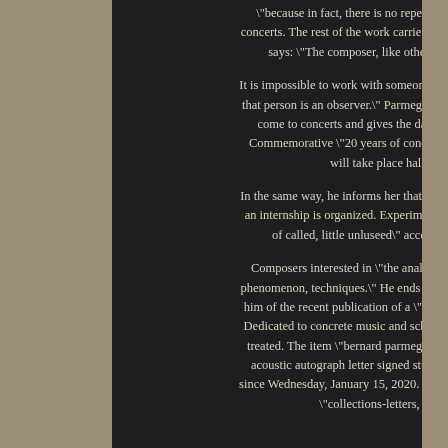\"because in fact, there is no repetition before the concerts. The rest of the work carried out - saclit in. He says: \"The composer, like other creators, is.
It is impossible to work with someone. Especially when that person is an observer.\" Parmegiani advises him to come to concerts and gives the date of a concert. Commemorative \"20 years of concrete music\" that will take place hall.
In the same way, he informs her that every two years of an internship is organized. Experimental music \"a lot of called, little unluseed\" accessible to all.
Composers interested in \"the analysis of the sound phenomenon, techniques.\" He ends his letter by telling him of the recent publication of a \"what do I know?\" Dedicated to concrete music and schoeffer stone work treated. The item \"bernard parmegiani electro music acoustic autograph letter signed student\" is on sale since Wednesday, January 15, 2020. It is in the category \"collections-letters, old